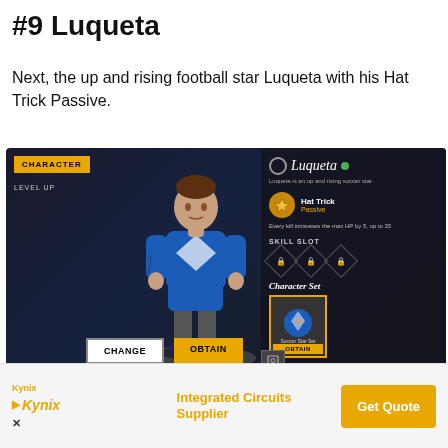#9 Luqueta
Next, the up and rising football star Luqueta with his Hat Trick Passive.
[Figure (screenshot): Free Fire game screenshot showing the character selection screen for Luqueta, a soccer star character. The screen shows his 3D model in blue soccer outfit, with CHARACTER tab, LEVEL UP option, Luqueta name, Hat Trick Passive skill description, SKILL SLOT section with locked slots, Character Set section with Soccer Star Set, and CHANGE/OBTAIN buttons at the bottom.]
[Figure (other): Kynix advertisement banner with logo, 'Integrated Circuits Supplier' text, and 'Get Quote' button in orange.]